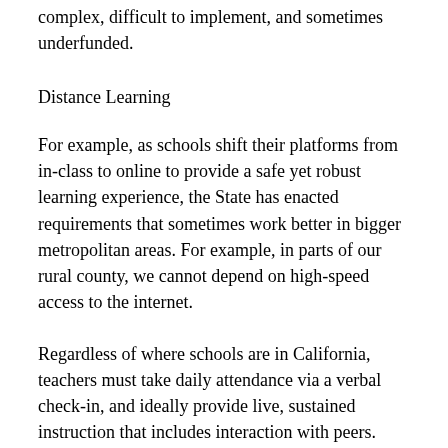complex, difficult to implement, and sometimes underfunded.
Distance Learning
For example, as schools shift their platforms from in-class to online to provide a safe yet robust learning experience, the State has enacted requirements that sometimes work better in bigger metropolitan areas. For example, in parts of our rural county, we cannot depend on high-speed access to the internet.
Regardless of where schools are in California, teachers must take daily attendance via a verbal check-in, and ideally provide live, sustained instruction that includes interaction with peers. This is done through a predetermined class schedule where the curriculum is developed and presented by the teacher. So, if your student has internet connectivity problems, please